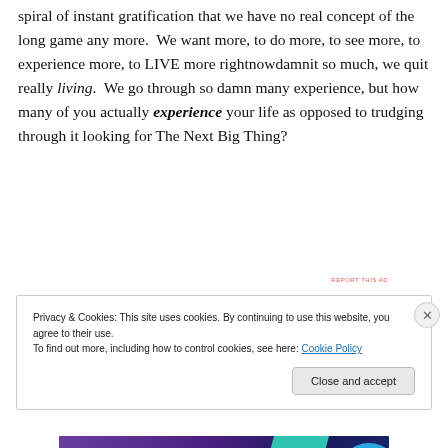spiral of instant gratification that we have no real concept of the long game any more.  We want more, to do more, to see more, to experience more, to LIVE more rightnowdamnit so much, we quit really living.  We go through so damn many experience, but how many of you actually experience your life as opposed to trudging through it looking for The Next Big Thing?
[Figure (screenshot): WooCommerce advertisement banner: purple/dark blue gradient background with teal accent shape and blue circle, showing WooCommerce logo and tagline 'Turn your hobby into a business in 8 steps']
Privacy & Cookies: This site uses cookies. By continuing to use this website, you agree to their use.
To find out more, including how to control cookies, see here: Cookie Policy
Close and accept